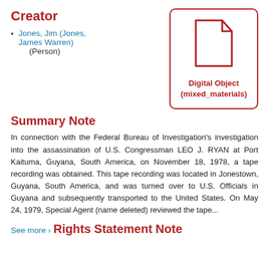Creator
Jones, Jim (Jones, James Warren) (Person)
[Figure (illustration): Document icon — a page with folded top-right corner, rendered in red outline]
Digital Object (mixed_materials)
Summary Note
In connection with the Federal Bureau of Investigation's investigation into the assassination of U.S. Congressman LEO J. RYAN at Port Kaituma, Guyana, South America, on November 18, 1978, a tape recording was obtained. This tape recording was located in Jonestown, Guyana, South America, and was turned over to U.S. Officials in Guyana and subsequently transported to the United States. On May 24, 1979, Special Agent (name deleted) reviewed the tape...
See more >
Rights Statement Note